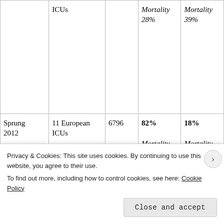| Author | Setting | N | DNR orders (%) | DNR mortality (%) |
| --- | --- | --- | --- | --- |
|  | ICUs |  | Mortality 28% | Mortality 39% |
| Sprung 2012 | 11 European ICUs | 6796 | 82% Mortality 24% | 18% Mortality 32% |
| Louriz 2012 | Single ICU Morocco | 398 | 64% Mortality | 36% Mortality |
Privacy & Cookies: This site uses cookies. By continuing to use this website, you agree to their use. To find out more, including how to control cookies, see here: Cookie Policy
Close and accept